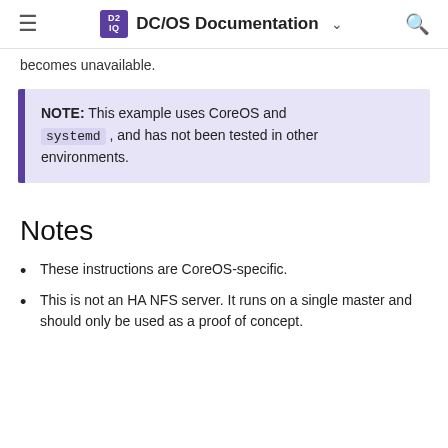DC/OS Documentation
becomes unavailable.
NOTE: This example uses CoreOS and systemd , and has not been tested in other environments.
Notes
These instructions are CoreOS-specific.
This is not an HA NFS server. It runs on a single master and should only be used as a proof of concept.